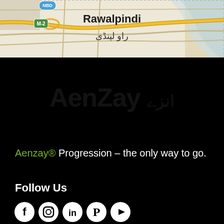[Figure (map): Google Maps showing Rawalpindi area with roads M-2, NBD marker, and Urdu text]
[Figure (illustration): Black footer area with large watermark text 'AenZay' and Urdu script]
Aenzay® Progression – the only way to go.
Follow Us
[Figure (infographic): Social media icons: Facebook, Instagram, LinkedIn, Pinterest, YouTube]
Quick Links